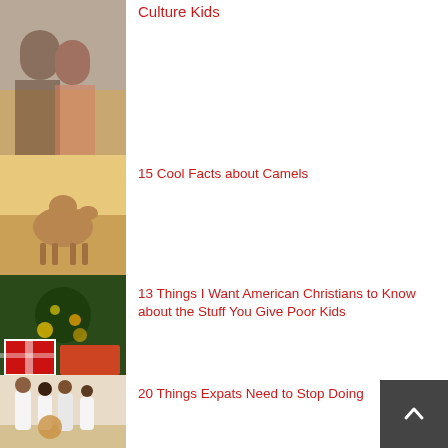[Figure (photo): Children sitting together, cultural scene]
Culture Kids
[Figure (photo): A camel standing in sandy terrain]
15 Cool Facts about Camels
[Figure (photo): Christmas gifts and decorations with bokeh lights]
13 Things I Want American Christians to Know about the Stuff You Give Poor Kids
[Figure (photo): Children dancing in white robes]
20 Things Expats Need to Stop Doing
[Figure (photo): Two people in winter outdoor scene]
A Letter to the Grandparents of My Third Culture Kids